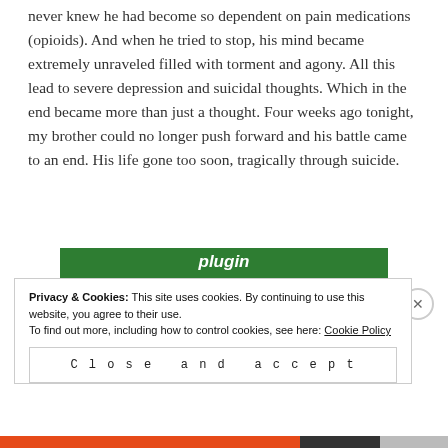never knew he had become so dependent on pain medications (opioids). And when he tried to stop, his mind became extremely unraveled filled with torment and agony. All this lead to severe depression and suicidal thoughts. Which in the end became more than just a thought. Four weeks ago tonight, my brother could no longer push forward and his battle came to an end. His life gone too soon, tragically through suicide.
[Figure (screenshot): Green banner with italic bold white text 'plugin']
Privacy & Cookies: This site uses cookies. By continuing to use this website, you agree to their use.
To find out more, including how to control cookies, see here: Cookie Policy
Close and accept